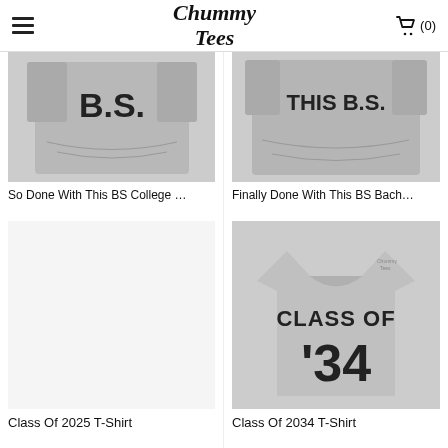Chummy Tees
[Figure (photo): Gray t-shirt with text 'B.S.' printed on it — 'So Done With This BS College' product]
[Figure (photo): Gray t-shirt flat lay with text 'THIS B.S.' — 'Finally Done With This BS Bach...' product]
So Done With This BS College …
Finally Done With This BS Bach…
[Figure (photo): No product image shown — Class Of 2025 T-Shirt placeholder]
[Figure (photo): Gray t-shirt with 'CLASS OF '34' printed in large athletic font — Class Of 2034 T-Shirt]
Class Of 2025 T-Shirt
Class Of 2034 T-Shirt